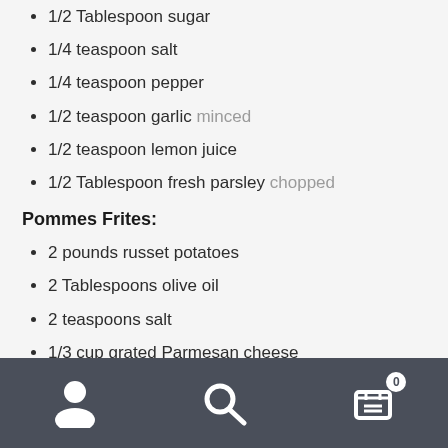1/2 Tablespoon sugar
1/4 teaspoon salt
1/4 teaspoon pepper
1/2 teaspoon garlic minced
1/2 teaspoon lemon juice
1/2 Tablespoon fresh parsley chopped
Pommes Frites:
2 pounds russet potatoes
2 Tablespoons olive oil
2 teaspoons salt
1/3 cup grated Parmesan cheese
2 teaspoons garlic minced
1/2 teaspoon cajun seasoning
1 Tablespoon fresh parsley chopped
Instructions
1. Preheat oven to 450 degrees F. Line a large baking